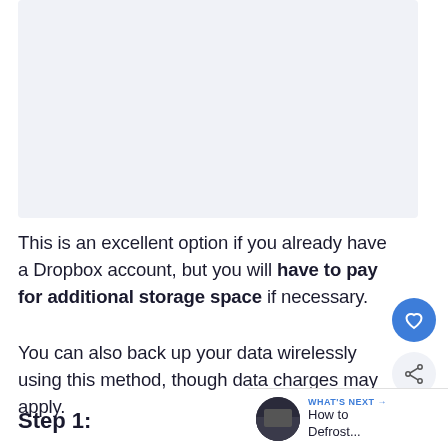[Figure (photo): Screenshot or instructional image placeholder at top of page]
This is an excellent option if you already have a Dropbox account, but you will have to pay for additional storage space if necessary.
You can also back up your data wirelessly using this method, though data charges may apply.
Step 1: